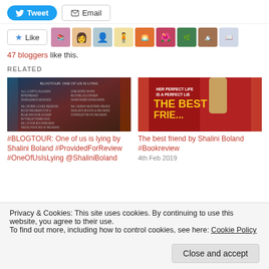[Figure (screenshot): Tweet and Email share buttons]
[Figure (screenshot): Like button with star icon and avatars of 47 bloggers]
47 bloggers like this.
RELATED
[Figure (photo): Book cover for One of us is lying blog tour]
#BLOGTOUR: One of us is lying by Shalini Boland #ProvidedForReview #OneOfUsIsLying @ShaliniBoland
[Figure (photo): Book cover: The Best Friend by Shalini Boland - Her perfect life is a perfect lie]
The best friend by Shalini Boland #Bookreview
4th Feb 2019
Privacy & Cookies: This site uses cookies. By continuing to use this website, you agree to their use.
To find out more, including how to control cookies, see here: Cookie Policy